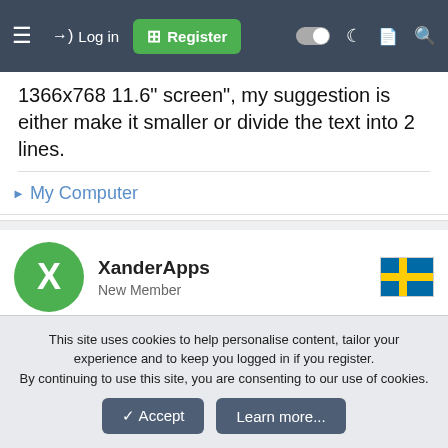≡  →) Log in  + Register
1366x768 11.6" screen", my suggestion is either make it smaller or divide the text into 2 lines.
▶ My Computer
XanderApps
New Member
Oct 29, 2013
#9
MrShowdown said: ↑
This site uses cookies to help personalise content, tailor your experience and to keep you logged in if you register.
By continuing to use this site, you are consenting to our use of cookies.
✓ Accept   Learn more...